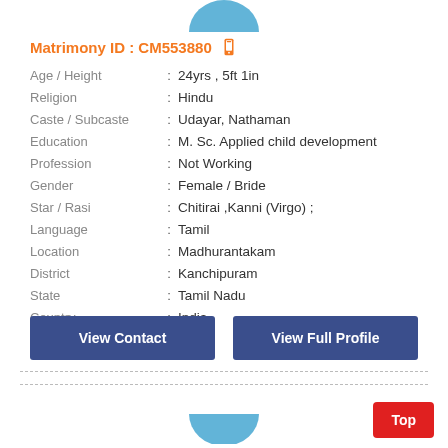[Figure (illustration): Partial blue circular avatar at top center]
Matrimony ID : CM553880
| Field |  | Value |
| --- | --- | --- |
| Age / Height | : | 24yrs , 5ft 1in |
| Religion | : | Hindu |
| Caste / Subcaste | : | Udayar, Nathaman |
| Education | : | M. Sc. Applied child development |
| Profession | : | Not Working |
| Gender | : | Female / Bride |
| Star / Rasi | : | Chitirai ,Kanni (Virgo) ; |
| Language | : | Tamil |
| Location | : | Madhurantakam |
| District | : | Kanchipuram |
| State | : | Tamil Nadu |
| Country | : | India |
View Contact
View Full Profile
[Figure (illustration): Partial blue circular avatar at bottom center]
Top